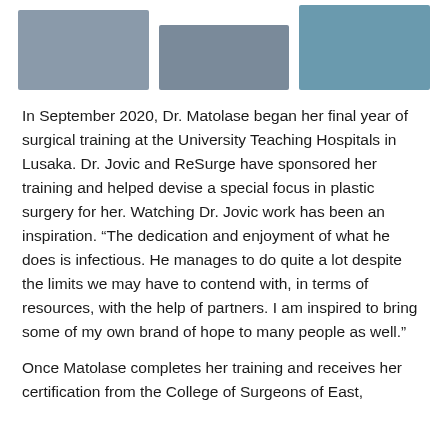[Figure (photo): Three photographs of medical/surgical scenes arranged in a row at the top of the page]
In September 2020, Dr. Matolase began her final year of surgical training at the University Teaching Hospitals in Lusaka. Dr. Jovic and ReSurge have sponsored her training and helped devise a special focus in plastic surgery for her. Watching Dr. Jovic work has been an inspiration. “The dedication and enjoyment of what he does is infectious. He manages to do quite a lot despite the limits we may have to contend with, in terms of resources, with the help of partners. I am inspired to bring some of my own brand of hope to many people as well.”
Once Matolase completes her training and receives her certification from the College of Surgeons of East,